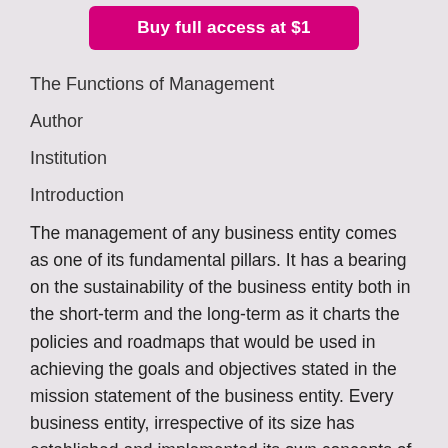[Figure (other): Pink/magenta button labeled 'Buy full access at $1']
The Functions of Management
Author
Institution
Introduction
The management of any business entity comes as one of its fundamental pillars. It has a bearing on the sustainability of the business entity both in the short-term and the long-term as it charts the policies and roadmaps that would be used in achieving the goals and objectives stated in the mission statement of the business entity. Every business entity, irrespective of its size has established and implemented its own concepts of management that would allow it to operate smoothly as well as achieve its objectives. In essence, the functions of the management allow it to handle the operations.